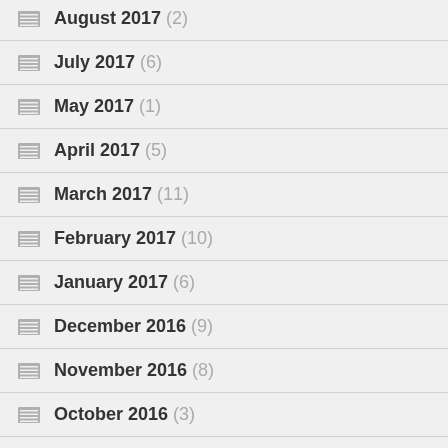August 2017 (2)
July 2017 (6)
May 2017 (1)
April 2017 (5)
March 2017 (11)
February 2017 (10)
January 2017 (6)
December 2016 (9)
November 2016 (8)
October 2016 (3)